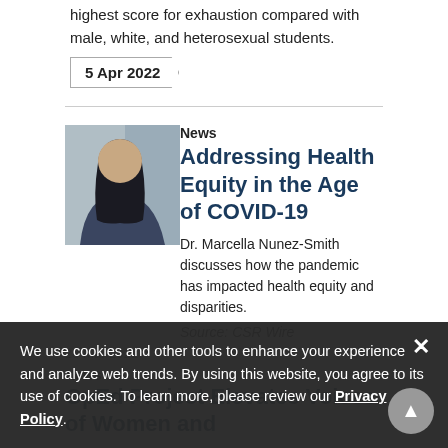highest score for exhaustion compared with male, white, and heterosexual students.
5 Apr 2022
News
Addressing Health Equity in the Age of COVID-19
[Figure (photo): Portrait photo of Dr. Marcella Nunez-Smith]
Dr. Marcella Nunez-Smith discusses how the pandemic has impacted health equity and disparities.
Source: CSR Wire
We use cookies and other tools to enhance your experience and analyze web trends. By using this website, you agree to its use of cookies. To learn more, please review our Privacy Policy.
28 Mar 2022
News
OpEd Project Elevates Voices of Women and